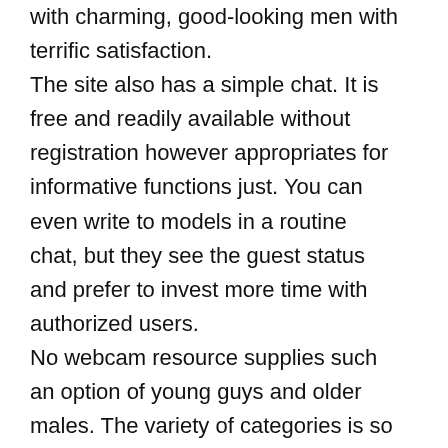with charming, good-looking men with terrific satisfaction. The site also has a simple chat. It is free and readily available without registration however appropriates for informative functions just. You can even write to models in a routine chat, but they see the guest status and prefer to invest more time with authorized users. No webcam resource supplies such an option of young guys and older males. The variety of categories is so large that you can get puzzled with the models. Model categories are a bit more unique than the